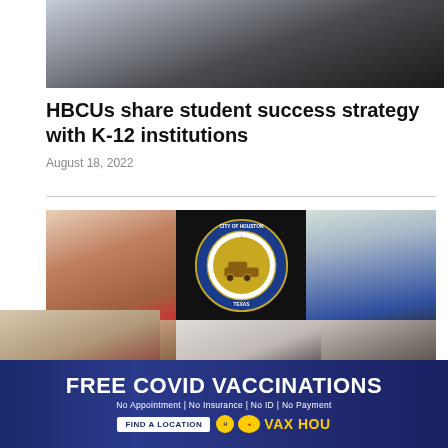[Figure (photo): Top portion of a person wearing a graduation gown, showing hands and partial torso]
HBCUs share student success strategy with K-12 institutions
August 18, 2022
[Figure (photo): Collage of photos: woman in red dress smiling, City of Houston Texas seal logo on black background, man in blue suit with pink tie, older person in library, young Black woman with hair up, bald man]
[Figure (infographic): Advertisement banner: FREE COVID VACCINATIONS - No Appointment | No Insurance | No ID | No Payment - FIND A LOCATION - VAX HOU]